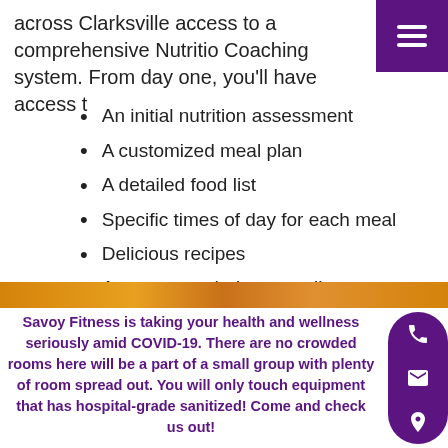across Clarksville access to a comprehensive Nutrition Coaching system. From day one, you'll have access t
An initial nutrition assessment
A customized meal plan
A detailed food list
Specific times of day for each meal
Delicious recipes
A recommended grocery list
Ongoing reviews throughout the process
[Figure (photo): Food/meal photo strip]
Savoy Fitness is taking your health and wellness seriously amid COVID-19. There are no crowded rooms here will be a part of a small group with plenty of room spread out. You will only touch equipment that has hospital-grade sanitized! Come and check us out!